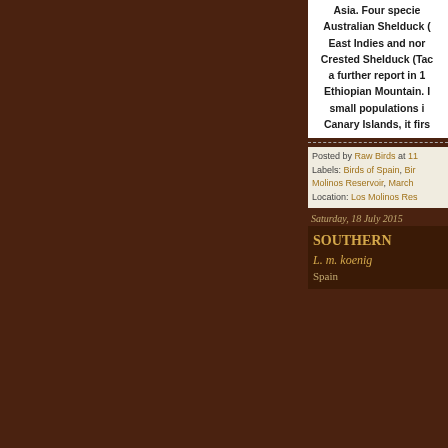Asia. Four species Australian Shelduck ( East Indies and nor Crested Shelduck (Tad a further report in 1 Ethiopian Mountain. I small populations i Canary Islands, it firs
Posted by Raw Birds at 11 Labels: Birds of Spain, Bir Molinos Reservoir, March Location: Los Molinos Res
Saturday, 18 July 2015
SOUTHERN
L. m. koenig
Spain